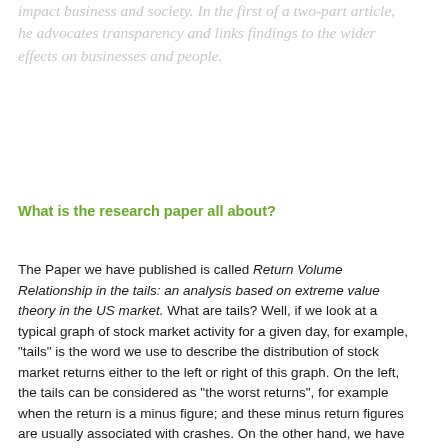impact business and society. In the first of a two-part article, he advocates transparency and links findings to the wider effects on businesses and people.
What is the research paper all about?
The Paper we have published is called Return Volume Relationship in the tails: an analysis based on extreme value theory in the US market. What are tails? Well, if we look at a typical graph of stock market activity for a given day, for example, "tails" is the word we use to describe the distribution of stock market returns either to the left or right of this graph. On the left, the tails can be considered as "the worst returns", for example when the return is a minus figure; and these minus return figures are usually associated with crashes. On the other hand, we have "best returns", which appear on the right-hand side of the graph; for example +5% on your investment. These plus figures, then, are usually associated with good results and even market